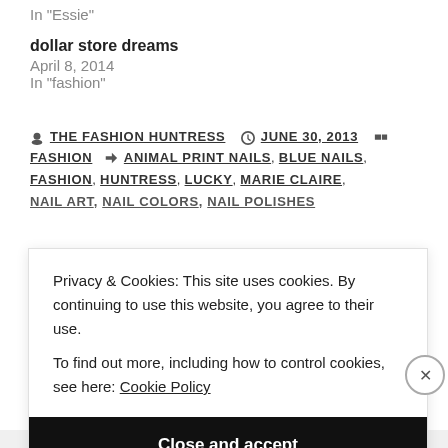In "Essie"
dollar store dreams
April 8, 2014
In "fashion"
THE FASHION HUNTRESS  JUNE 30, 2013  FASHION  ANIMAL PRINT NAILS, BLUE NAILS, FASHION, HUNTRESS, LUCKY, MARIE CLAIRE, NAIL ART, NAIL COLORS, NAIL POLISHES
Privacy & Cookies: This site uses cookies. By continuing to use this website, you agree to their use. To find out more, including how to control cookies, see here: Cookie Policy
Close and accept